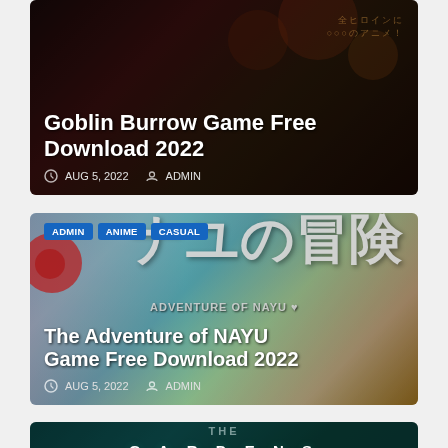[Figure (screenshot): Blog card for Goblin Burrow Game Free Download 2022 — dark fantasy themed banner image with title, date AUG 5, 2022, and author ADMIN]
Goblin Burrow Game Free Download 2022
AUG 5, 2022  ADMIN
[Figure (screenshot): Blog card for The Adventure of NAYU Game Free Download 2022 — colorful anime/casual game banner with Japanese text, tags ADMIN, ANIME, CASUAL, date AUG 5, 2022, author ADMIN]
The Adventure of NAYU Game Free Download 2022
AUG 5, 2022  ADMIN
[Figure (screenshot): Blog card for The Gardens Between — dark teal themed game banner with large spaced lettering, tag ANIME]